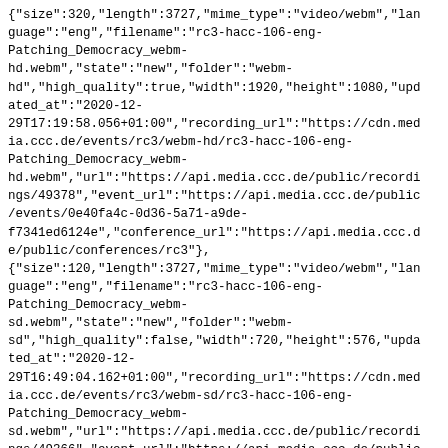{"size":320,"length":3727,"mime_type":"video/webm","language":"eng","filename":"rc3-hacc-106-eng-Patching_Democracy_webm-hd.webm","state":"new","folder":"webm-hd","high_quality":true,"width":1920,"height":1080,"updated_at":"2020-12-29T17:19:58.056+01:00","recording_url":"https://cdn.media.ccc.de/events/rc3/webm-hd/rc3-hacc-106-eng-Patching_Democracy_webm-hd.webm","url":"https://api.media.ccc.de/public/recordings/49378","event_url":"https://api.media.ccc.de/public/events/0e40fa4c-0d36-5a71-a9de-f7341ed6124e","conference_url":"https://api.media.ccc.de/public/conferences/rc3"},
{"size":120,"length":3727,"mime_type":"video/webm","language":"eng","filename":"rc3-hacc-106-eng-Patching_Democracy_webm-sd.webm","state":"new","folder":"webm-sd","high_quality":false,"width":720,"height":576,"updated_at":"2020-12-29T16:49:04.162+01:00","recording_url":"https://cdn.media.ccc.de/events/rc3/webm-sd/rc3-hacc-106-eng-Patching_Democracy_webm-sd.webm","url":"https://api.media.ccc.de/public/recordings/49366","event_url":"https://api.media.ccc.de/public/events/0e40fa4c-0d36-5a71-a9de-f7341ed6124e","conference_url":"https://api.media.ccc.de/public/conferences/rc3"},
{"size":32,"length":3727,"mime_type":"audio/opus","language":"eng","filename":"rc3-hacc-106-eng-